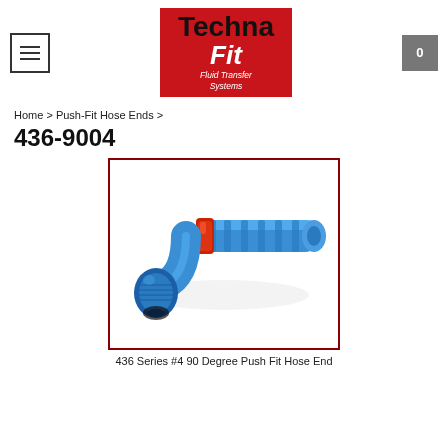[Figure (logo): Techna-Fit Fluid Transfer Systems logo on red background with black and white text]
Home > Push-Fit Hose Ends >
436-9004
[Figure (photo): Blue anodized aluminum 90-degree push-fit hose end fitting with red o-ring seal, showing ribbed barb end and threaded swivel end]
436 Series #4 90 Degree Push Fit Hose End